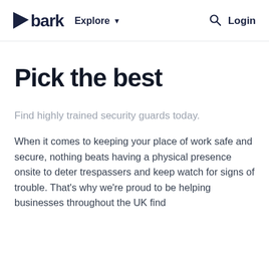bark  Explore  Login
Pick the best
Find highly trained security guards today.
When it comes to keeping your place of work safe and secure, nothing beats having a physical presence onsite to deter trespassers and keep watch for signs of trouble. That’s why we’re proud to be helping businesses throughout the UK find